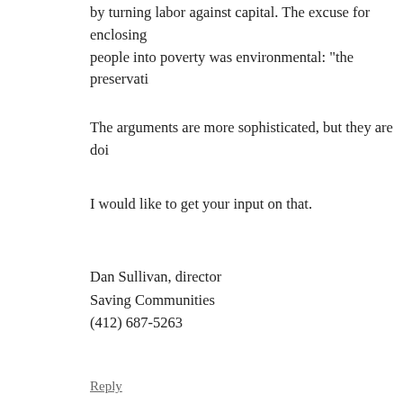by turning labor against capital. The excuse for enclosing people into poverty was environmental: “the preservati
The arguments are more sophisticated, but they are doi
I would like to get your input on that.
Dan Sullivan, director
Saving Communities
(412) 687-5263
Reply
Leave a Reply to Zaneu Cancel reply
Your email address will not be published. Required fields are m
Comment *